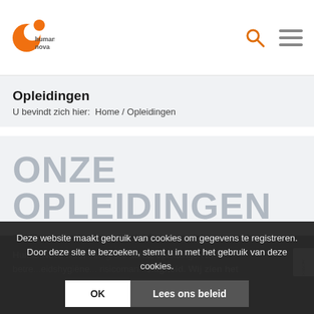[Figure (logo): HumanNova logo with orange circle graphic and text 'human nova']
[Figure (other): Search icon (magnifying glass) and hamburger menu icon in top right]
Opleidingen
U bevindt zich hier:  Home / Opleidingen
ONZE OPLEIDINGEN
Bekijk onze selectie van opleidingen gericht op goede arbeidsomstandigheden.
Deze website maakt gebruik van cookies om gegevens te registreren. Door deze site te bezoeken, stemt u in met het gebruik van deze cookies.
HumanNova biedt een grote aantal opleidingen met betre...eidshygiëne... risicoman... eiligheid. Wij zien het
[Figure (other): reCAPTCHA badge on the right side]